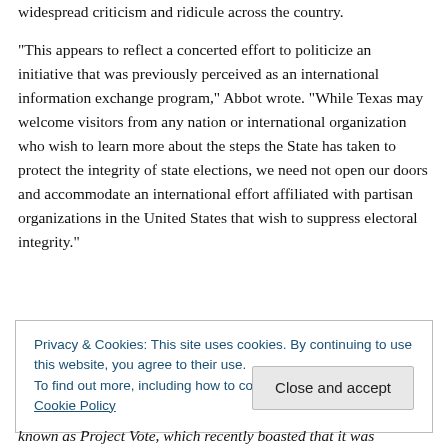widespread criticism and ridicule across the country.
"This appears to reflect a concerted effort to politicize an initiative that was previously perceived as an international information exchange program," Abbot wrote. "While Texas may welcome visitors from any nation or international organization who wish to learn more about the steps the State has taken to protect the integrity of state elections, we need not open our doors and accommodate an international effort affiliated with partisan organizations in the United States that wish to suppress electoral integrity."
Privacy & Cookies: This site uses cookies. By continuing to use this website, you agree to their use. To find out more, including how to control cookies, see here: Cookie Policy
known as Project Vote, which recently boasted that it was